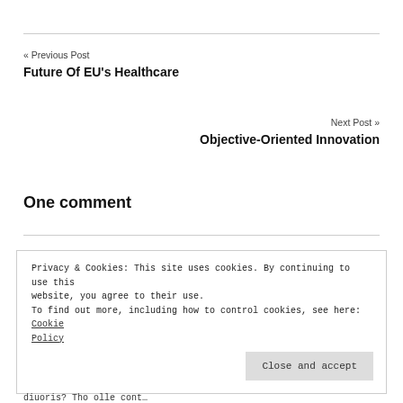« Previous Post
Future Of EU's Healthcare
Next Post »
Objective-Oriented Innovation
One comment
Privacy & Cookies: This site uses cookies. By continuing to use this website, you agree to their use.
To find out more, including how to control cookies, see here: Cookie Policy
Close and accept
diuoris? Tho olle cont…